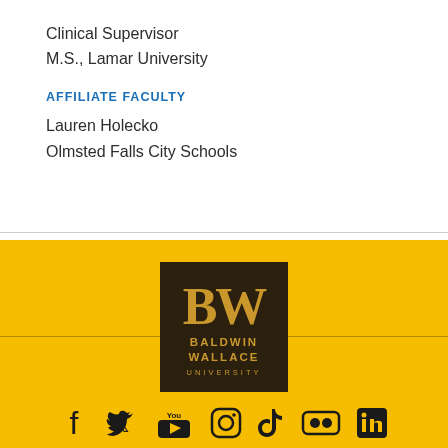Clinical Supervisor
M.S., Lamar University
AFFILIATE FACULTY
Lauren Holecko
Olmsted Falls City Schools
[Figure (logo): Baldwin Wallace University BW logo — dark brown square with gold BW letters and text BALDWIN WALLACE UNIVERSITY]
[Figure (infographic): Social media icons row: Facebook, Twitter, YouTube, Instagram, TikTok, Flickr, LinkedIn]